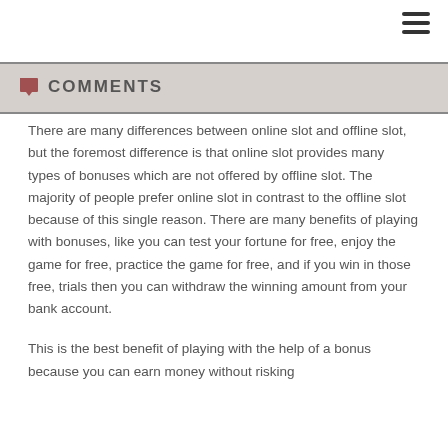COMMENTS
There are many differences between online slot and offline slot, but the foremost difference is that online slot provides many types of bonuses which are not offered by offline slot. The majority of people prefer online slot in contrast to the offline slot because of this single reason. There are many benefits of playing with bonuses, like you can test your fortune for free, enjoy the game for free, practice the game for free, and if you win in those free, trials then you can withdraw the winning amount from your bank account.
This is the best benefit of playing with the help of a bonus because you can earn money without risking